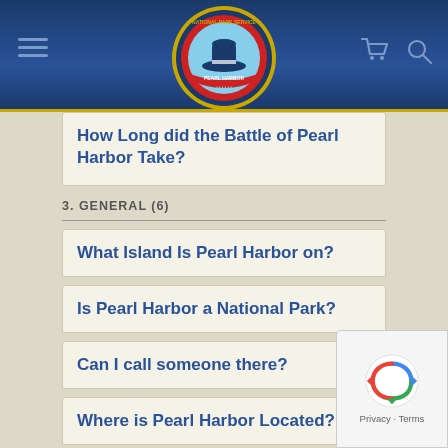Pearl Harbor FAQ page header with logo, hamburger menu, cart and search icons
How Long did the Battle of Pearl Harbor Take?
3. GENERAL (6)
What Island Is Pearl Harbor on?
Is Pearl Harbor a National Park?
Can I call someone there?
Where is Pearl Harbor Located?
Does the USS Arizona oil leak into the water?